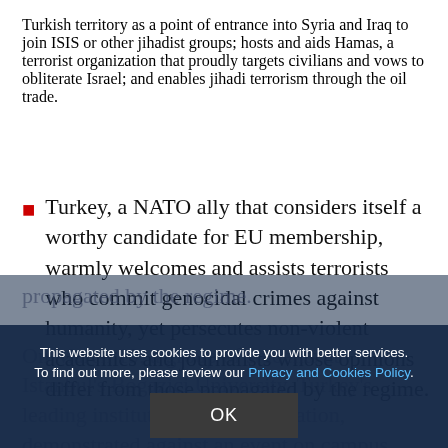Turkish territory as a point of entrance into Syria and Iraq to join ISIS or other jihadist groups; hosts and aids Hamas, a terrorist organization that proudly targets civilians and vows to obliterate Israel; and enables jihadi terrorism through the oil trade.
Turkey, a NATO ally that considers itself a worthy candidate for EU membership, warmly welcomes and assists terrorists who commit genocidal crimes against humanity, yet persecutes non-violent academics and journalists whose opinions differ from those propagated by the regime.
This website uses cookies to provide you with better services. To find out more, please review our Privacy and Cookies Policy.
On March 19, a group of students at Istanbul's Boğaziçi University, Turkey's leading institute of higher education, demonstrated against an event on campus. The event